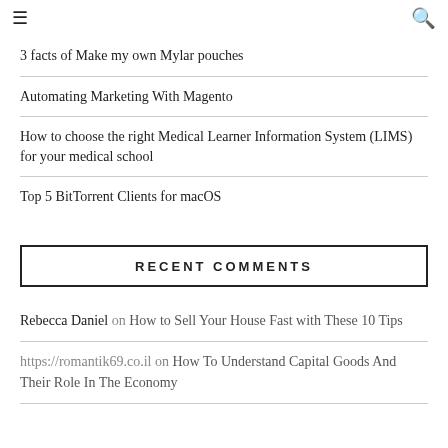≡  🔍
3 facts of Make my own Mylar pouches
Automating Marketing With Magento
How to choose the right Medical Learner Information System (LIMS) for your medical school
Top 5 BitTorrent Clients for macOS
RECENT COMMENTS
Rebecca Daniel on How to Sell Your House Fast with These 10 Tips
https://romantik69.co.il on How To Understand Capital Goods And Their Role In The Economy